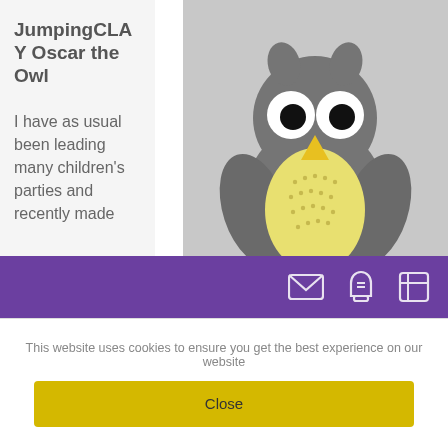JumpingCLAY Oscar the Owl
I have as usual been leading many children's parties and recently made this little fella during one of them. It's a rarity for me to like something I make while teaching as often there is not
[Figure (photo): A clay sculpture of a cute owl named Oscar, with a grey body, large white eyes with black pupils, a yellow beak, yellow belly, and yellow feet, photographed on a grey background.]
This website uses cookies to ensure you get the best experience on our website
Close